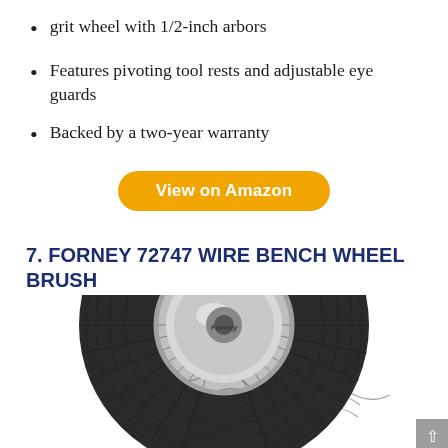grit wheel with 1/2-inch arbors
Features pivoting tool rests and adjustable eye guards
Backed by a two-year warranty
View on Amazon
7. FORNEY 72747 WIRE BENCH WHEEL BRUSH
[Figure (photo): Bottom half of a Forney wire bench wheel brush showing circular wire bristles and chrome center hub with Forney branding]